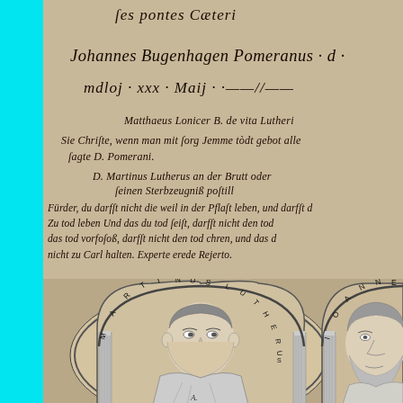[Figure (illustration): Historical document page showing handwritten German/Latin text in old script at the top, including the name 'Johannes Bugenhagen Pomeranus' and date references, followed by an engraved portrait medallion of Martinus Lutherus (Martin Luther) on the left and a partial portrait of Ioannes Bugenhagen on the right, framed in arched medallions with columns. A cyan/turquoise bar appears on the left edge.]